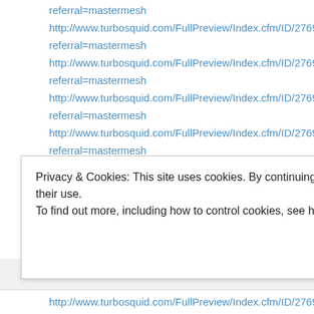referral=mastermesh
http://www.turbosquid.com/FullPreview/Index.cfm/ID/276947scrapes referral=mastermesh
http://www.turbosquid.com/FullPreview/Index.cfm/ID/276948scrapes referral=mastermesh
http://www.turbosquid.com/FullPreview/Index.cfm/ID/276949scrapes referral=mastermesh
http://www.turbosquid.com/FullPreview/Index.cfm/ID/276950scrapes referral=mastermesh
http://www.turbosquid.com/FullPreview/Index.cfm/ID/276951scrapes referral=mastermesh
http://www.turbosquid.com/FullPreview/Index.cfm/ID/276952scrapes referral=mastermesh
http://www.turbosquid.com/FullPreview/Index.cfm/ID/276990scrapes
Privacy & Cookies: This site uses cookies. By continuing to use this website, you agree to their use. To find out more, including how to control cookies, see here: Cookie Policy
http://www.turbosquid.com/FullPreview/Index.cfm/ID/276994